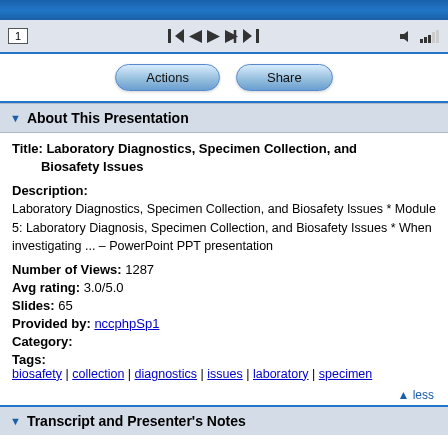[Figure (screenshot): Media player controls bar with page number 1, navigation buttons (skip back, back, play, forward, skip forward), volume and signal icons]
[Figure (screenshot): Actions and Share pill-shaped buttons]
About This Presentation
Title: Laboratory Diagnostics, Specimen Collection, and Biosafety Issues
Description:
Laboratory Diagnostics, Specimen Collection, and Biosafety Issues * Module 5: Laboratory Diagnosis, Specimen Collection, and Biosafety Issues * When investigating ... – PowerPoint PPT presentation
Number of Views: 1287
Avg rating: 3.0/5.0
Slides: 65
Provided by: nccphpSp1
Category:
Tags:
biosafety | collection | diagnostics | issues | laboratory | specimen
▲ less
Transcript and Presenter's Notes